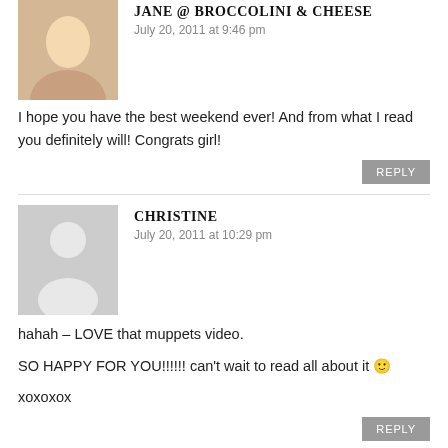JANE @ BROCCOLINI & CHEESE
July 20, 2011 at 9:46 pm
I hope you have the best weekend ever! And from what I read you definitely will! Congrats girl!
CHRISTINE
July 20, 2011 at 10:29 pm
hahah – LOVE that muppets video.

SO HAPPY FOR YOU!!!!!! can't wait to read all about it 🙂

xoxoxox
NICOLE
July 21, 2011 at 7:19 am